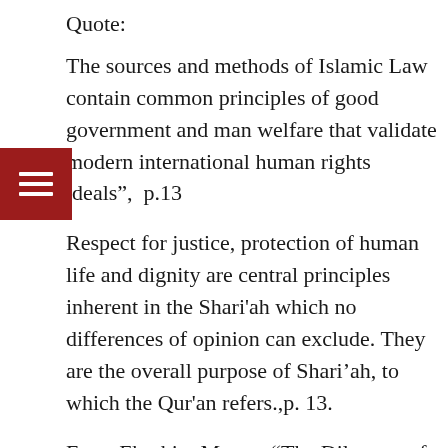Quote:
The sources and methods of Islamic Law contain common principles of good government and man welfare that validate modern international human rights ideals",  p.13
Respect for justice, protection of human life and dignity are central principles inherent in the Shari'ah which no differences of opinion can exclude. They are the overall purpose of Shari’ah, to which the Qur'an refers.,p. 13.
From Ebrahim Moosa, “The Dilemma of Islamic Rights Schemes,  Journal of Law and Religion, 40 (2000-. 2001), 185-215.
-Cites the response of caliph Umar who was